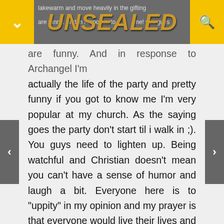UNSEALED
are funny. And in response to Archangel I'm actually the life of the party and pretty funny if you got to know me I'm very popular at my church. As the saying goes the party don't start til i walk in ;). You guys need to lighten up. Being watchful and Christian doesn't mean you can't have a sense of humor and laugh a bit. Everyone here is to "uppity" in my opinion and my prayer is that everyone would live their lives and go about their business until Christ comes. Being watchful doesn't mean borderline crazy just saying. I am very positive and love everyone especially my Jesus if you only knew my testimony and how good God has been to me and the grace and mercy he has poured out over me you would...